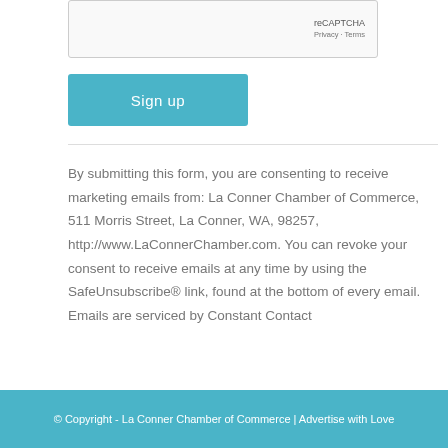[Figure (other): reCAPTCHA widget box showing Privacy and Terms links]
Sign up
By submitting this form, you are consenting to receive marketing emails from: La Conner Chamber of Commerce, 511 Morris Street, La Conner, WA, 98257, http://www.LaConnerChamber.com. You can revoke your consent to receive emails at any time by using the SafeUnsubscribe® link, found at the bottom of every email. Emails are serviced by Constant Contact
© Copyright - La Conner Chamber of Commerce | Advertise with Love